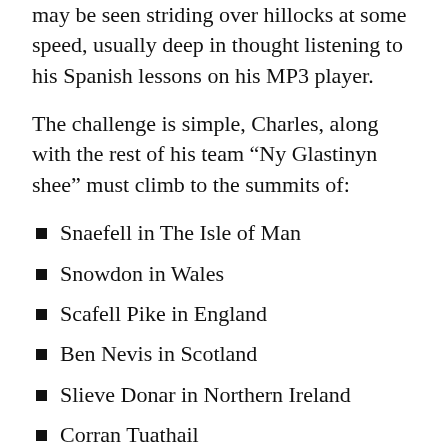may be seen striding over hillocks at some speed, usually deep in thought listening to his Spanish lessons on his MP3 player.
The challenge is simple, Charles, along with the rest of his team “Ny Glastinyn shee” must climb to the summits of:
Snaefell in The Isle of Man
Snowdon in Wales
Scafell Pike in England
Ben Nevis in Scotland
Slieve Donar in Northern Ireland
Corran Tuathail
The team must drive between the locations, catching what sleep they can in the interim. The